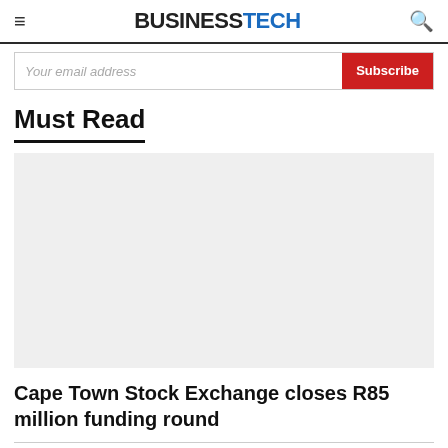≡  BUSINESSTECH  🔍
Your email address  Subscribe
Must Read
[Figure (photo): Placeholder grey image for article thumbnail]
Cape Town Stock Exchange closes R85 million funding round